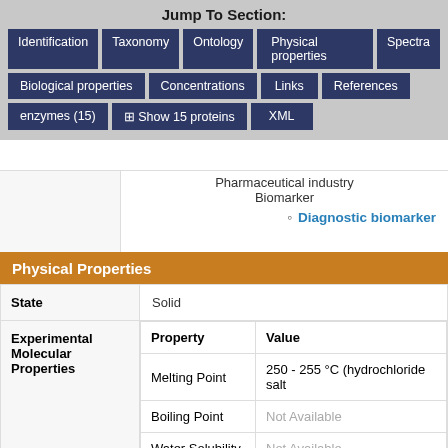Jump To Section:
Identification | Taxonomy | Ontology | Physical properties | Spectra
Biological properties | Concentrations | Links | References
enzymes (15) | Show 15 proteins | XML
Pharmaceutical industry
Biomarker
• Diagnostic biomarker
Physical Properties
| Property | Value |
| --- | --- |
| State | Solid |
| Experimental Molecular Properties |  |
| Melting Point | 250 - 255 °C (hydrochloride salt |
| Boiling Point | Not Available |
| Water Solubility | Not Available |